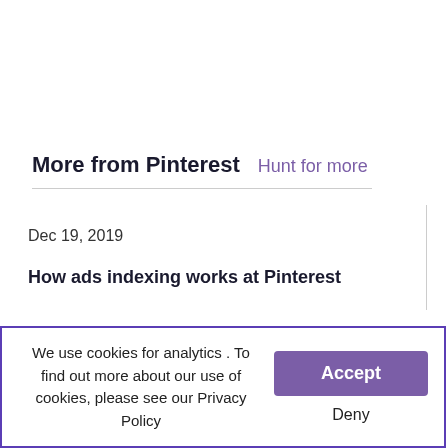More from Pinterest
Hunt for more
Dec 19, 2019
How ads indexing works at Pinterest
Feb 2, 2018
Geo-blocking r
We use cookies for analytics . To find out more about our use of cookies, please see our Privacy Policy